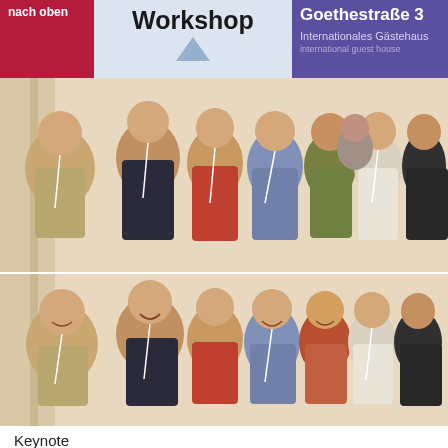nach oben | Workshop | Goethestraße 3 | Internationales Gästehaus
[Figure (photo): Group photo of workshop participants standing together in an indoor setting, wearing lanyards and conference badges. First of two similar photos.]
[Figure (photo): Group photo of workshop participants standing together in an indoor setting, wearing lanyards and conference badges. Second similar photo, participants smiling more.]
Keynote